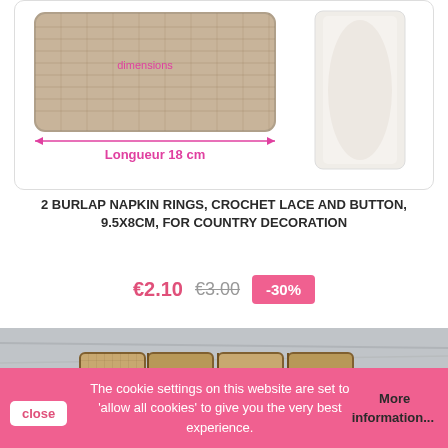[Figure (photo): Product photo showing burlap fabric with measurement arrows indicating length 18 cm, and a white roll of fabric on the right side]
2 BURLAP NAPKIN RINGS, CROCHET LACE AND BUTTON, 9.5X8CM, FOR COUNTRY DECORATION
€2.10  €3.00  -30%
[Figure (photo): Photo of burlap napkin rings arranged in a row on a grey wooden surface]
The cookie settings on this website are set to 'allow all cookies' to give you the very best experience. More information...